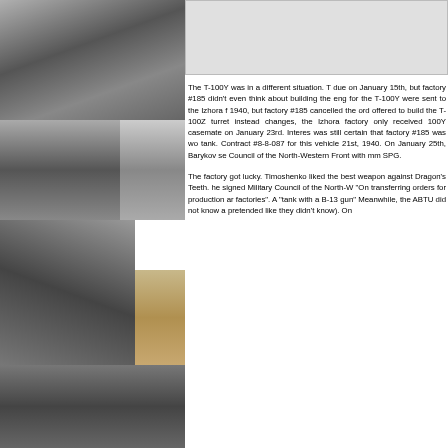[Figure (photo): Black and white photograph of a tank in a field, top left]
[Figure (photo): Black and white photograph of soldiers/people, middle left]
[Figure (photo): Black and white photograph, middle right inset]
[Figure (photo): Black and white photograph of a tank gun close-up]
[Figure (map): Colored map inset]
[Figure (photo): Black and white photograph of a tank, bottom left]
[Figure (photo): Light gray box top right, partial image]
The T-100Y was in a different situation. T due on January 15th, but factory #185 didn't even think about building the eng for the T-100Y were sent to the Izhora f 1940, but factory #185 cancelled the ord offered to build the T-100Z turret instead changes, the Izhora factory only received 100Y casemate on January 23rd. Interes was still certain that factory #185 was wo tank. Contract #8-8-087 for this vehicle 21st, 1940. On January 25th, Barykov se Council of the North-Western Front with mm SPG.
The factory got lucky. Timoshenko liked the best weapon against Dragon's Teeth. he signed Military Council of the North-W "On transferring orders for production ar factories". A "tank with a B-13 gun" Meanwhile, the ABTU did not know a pretended like they didn't know). On